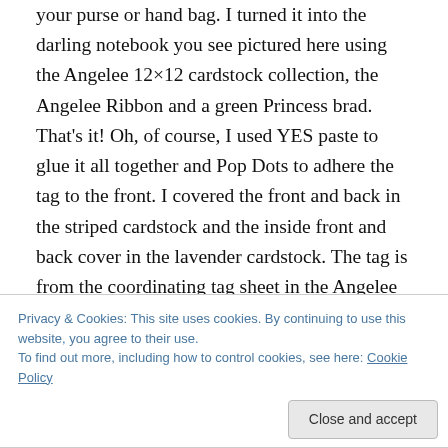your purse or hand bag.  I turned it into the darling notebook you see pictured here using the Angelee 12×12 cardstock collection, the Angelee Ribbon and a green Princess brad.  That's it!  Oh, of course, I used YES paste to glue it all together and Pop Dots to adhere the tag to the front.  I covered the front and back in the striped cardstock and the inside front and back cover in the lavender cardstock.  The tag is from the coordinating tag sheet in the Angelee Cardstock Collection.  The Angel Company makes it so easy for you… all the cardstocks, ribbons, tags, etc. coordinates with each other (all at an
Privacy & Cookies: This site uses cookies. By continuing to use this website, you agree to their use.
To find out more, including how to control cookies, see here: Cookie Policy